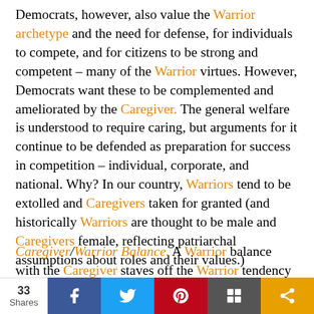Democrats, however, also value the Warrior archetype and the need for defense, for individuals to compete, and for citizens to be strong and competent – many of the Warrior virtues. However, Democrats want these to be complemented and ameliorated by the Caregiver. The general welfare is understood to require caring, but arguments for it continue to be defended as preparation for success in competition – individual, corporate, and national. Why? In our country, Warriors tend to be extolled and Caregivers taken for granted (and historically Warriors are thought to be male and Caregivers female, reflecting patriarchal assumptions about roles and their values.)
Caregiver/Warrior Balance. A Warrior balance with the Caregiver staves off the Warrior tendency to be